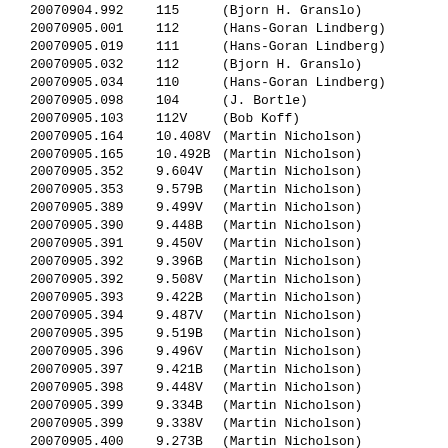| 20070904.992 | 115 | (Bjorn H. Granslo) |
| 20070905.001 | 112 | (Hans-Goran Lindberg) |
| 20070905.019 | 111 | (Hans-Goran Lindberg) |
| 20070905.032 | 112 | (Bjorn H. Granslo) |
| 20070905.034 | 110 | (Hans-Goran Lindberg) |
| 20070905.098 | 104 | (J. Bortle) |
| 20070905.103 | 112V | (Bob Koff) |
| 20070905.164 | 10.408V | (Martin Nicholson) |
| 20070905.165 | 10.492B | (Martin Nicholson) |
| 20070905.352 | 9.604V | (Martin Nicholson) |
| 20070905.353 | 9.579B | (Martin Nicholson) |
| 20070905.389 | 9.499V | (Martin Nicholson) |
| 20070905.390 | 9.448B | (Martin Nicholson) |
| 20070905.391 | 9.450V | (Martin Nicholson) |
| 20070905.392 | 9.396B | (Martin Nicholson) |
| 20070905.392 | 9.508V | (Martin Nicholson) |
| 20070905.393 | 9.422B | (Martin Nicholson) |
| 20070905.394 | 9.487V | (Martin Nicholson) |
| 20070905.395 | 9.519B | (Martin Nicholson) |
| 20070905.396 | 9.496V | (Martin Nicholson) |
| 20070905.397 | 9.421B | (Martin Nicholson) |
| 20070905.398 | 9.448V | (Martin Nicholson) |
| 20070905.399 | 9.334B | (Martin Nicholson) |
| 20070905.399 | 9.338V | (Martin Nicholson) |
| 20070905.400 | 9.273B | (Martin Nicholson) |
| 20070905.401 | 9.355V | (Martin Nicholson) |
| 20070905.402 | 9.337B | (Martin Nicholson) |
| 20070905.403 | 9.412V | (Martin Nicholson) |
| 20070905.403 | 9.371B | (Martin Nicholson) |
| 20070905.404 | 9.364V | (Martin Nicholson) |